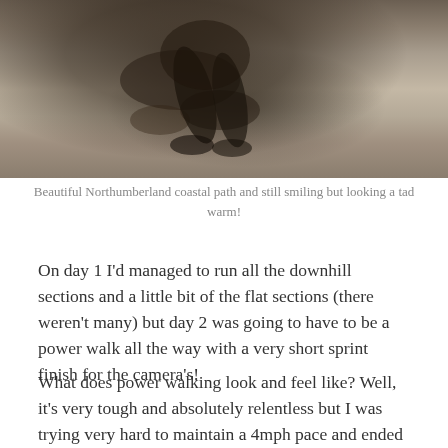[Figure (photo): Photo of a person's shadow on a rocky/sandy coastal path, Northumberland coastal path scene]
Beautiful Northumberland coastal path and still smiling but looking a tad warm!
On day 1 I'd managed to run all the downhill sections and a little bit of the flat sections (there weren't many) but day 2 was going to have to be a power walk all the way with a very short sprint finish for the camera's!
What does power walking look and feel like? Well, it's very tough and absolutely relentless but I was trying very hard to maintain a 4mph pace and ended up quite close to that.
As the day progressed it got hotter and hotter and, as a